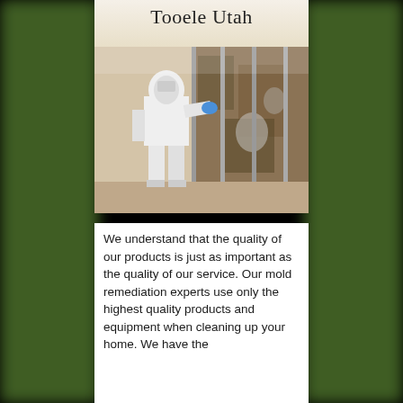Tooele Utah
[Figure (photo): A mold remediation worker in a white protective hazmat suit with blue gloves working on a mold-damaged wall with exposed studs and heavily contaminated drywall/insulation.]
We understand that the quality of our products is just as important as the quality of our service. Our mold remediation experts use only the highest quality products and equipment when cleaning up your home. We have the